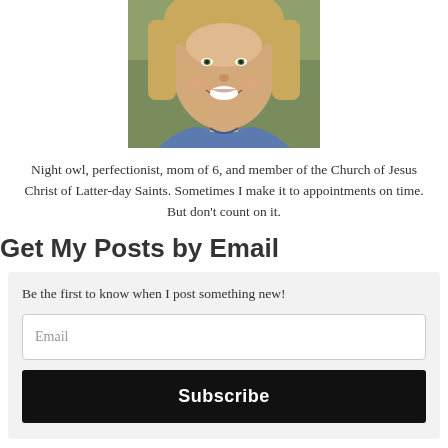[Figure (photo): A smiling blonde woman photographed outdoors, wearing a blue top. Photo is cropped to show face and upper shoulders.]
Night owl, perfectionist, mom of 6, and member of the Church of Jesus Christ of Latter-day Saints. Sometimes I make it to appointments on time. But don't count on it.
Get My Posts by Email
Be the first to know when I post something new!
Email
Subscribe